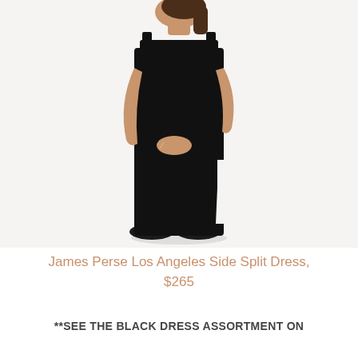[Figure (photo): A woman wearing a black sleeveless side-split midi dress with a high round neckline, standing against a white background, wearing black flat shoes.]
James Perse Los Angeles Side Split Dress, $265
**SEE THE BLACK DRESS ASSORTMENT ON